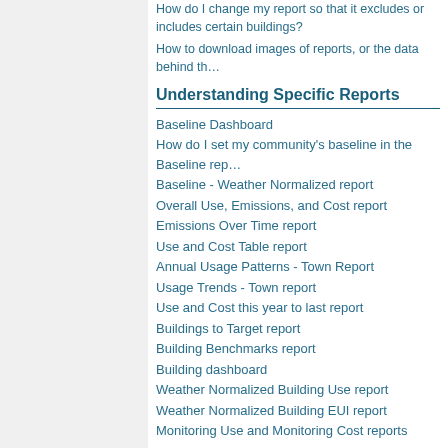How do I change my report so that it excludes or includes certain buildings?
How to download images of reports, or the data behind th…
Understanding Specific Reports
Baseline Dashboard
How do I set my community's baseline in the Baseline rep…
Baseline - Weather Normalized report
Overall Use, Emissions, and Cost report
Emissions Over Time report
Use and Cost Table report
Annual Usage Patterns - Town Report
Usage Trends - Town report
Use and Cost this year to last report
Buildings to Target report
Building Benchmarks report
Building dashboard
Weather Normalized Building Use report
Weather Normalized Building EUI report
Monitoring Use and Monitoring Cost reports